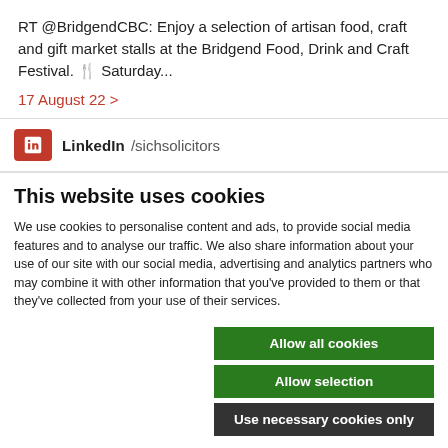RT @BridgendCBC: Enjoy a selection of artisan food, craft and gift market stalls at the Bridgend Food, Drink and Craft Festival. 🍴 Saturday...
17 August 22 >
LinkedIn /sichsolicitors
This website uses cookies
We use cookies to personalise content and ads, to provide social media features and to analyse our traffic. We also share information about your use of our site with our social media, advertising and analytics partners who may combine it with other information that you've provided to them or that they've collected from your use of their services.
Allow all cookies
Allow selection
Use necessary cookies only
Necessary   Preferences   Statistics   Show details   Marketing